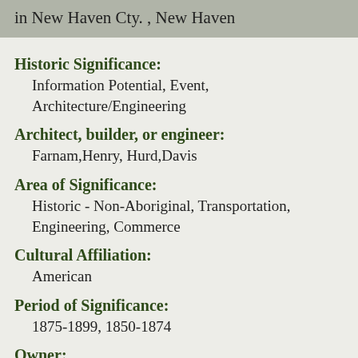in New Haven Cty. , New Haven
Historic Significance:
Information Potential, Event, Architecture/Engineering
Architect, builder, or engineer:
Farnam,Henry, Hurd,Davis
Area of Significance:
Historic - Non-Aboriginal, Transportation, Engineering, Commerce
Cultural Affiliation:
American
Period of Significance:
1875-1899, 1850-1874
Owner:
Local,Private
Historic Function:
Transportation
Historic Sub-function: